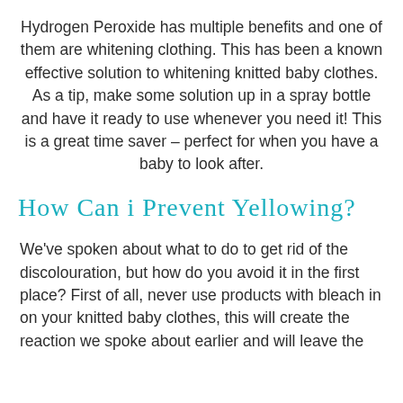Hydrogen Peroxide has multiple benefits and one of them are whitening clothing. This has been a known effective solution to whitening knitted baby clothes. As a tip, make some solution up in a spray bottle and have it ready to use whenever you need it! This is a great time saver – perfect for when you have a baby to look after.
How Can i Prevent Yellowing?
We've spoken about what to do to get rid of the discolouration, but how do you avoid it in the first place? First of all, never use products with bleach in on your knitted baby clothes, this will create the reaction we spoke about earlier and will leave the